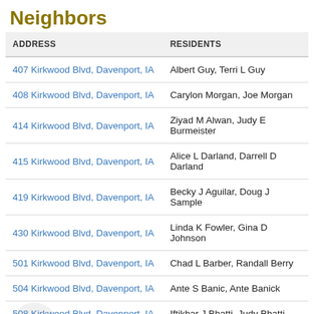Neighbors
| ADDRESS | RESIDENTS |
| --- | --- |
| 407 Kirkwood Blvd, Davenport, IA | Albert Guy, Terri L Guy |
| 408 Kirkwood Blvd, Davenport, IA | Carylon Morgan, Joe Morgan |
| 414 Kirkwood Blvd, Davenport, IA | Ziyad M Alwan, Judy E Burmeister |
| 415 Kirkwood Blvd, Davenport, IA | Alice L Darland, Darrell D Darland |
| 419 Kirkwood Blvd, Davenport, IA | Becky J Aguilar, Doug J Sample |
| 430 Kirkwood Blvd, Davenport, IA | Linda K Fowler, Gina D Johnson |
| 501 Kirkwood Blvd, Davenport, IA | Chad L Barber, Randall Berry |
| 504 Kirkwood Blvd, Davenport, IA | Ante S Banic, Ante Banick |
| 508 Kirkwood Blvd, Davenport, IA | Iftikhar J Bhatti, Judy Bhatti |
| 509 Kirkwood Blvd, Davenport, IA | Carson Baker, Michael Baker |